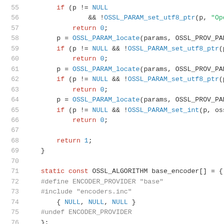[Figure (screenshot): Source code listing in C showing lines 55-76 of an OpenSSL provider implementation. Lines show null checks, OSSL_PARAM_locate and OSSL_PARAM_set_utf8_ptr/set_int calls, return statements, and static const OSSL_ALGORITHM array definition with preprocessor directives.]